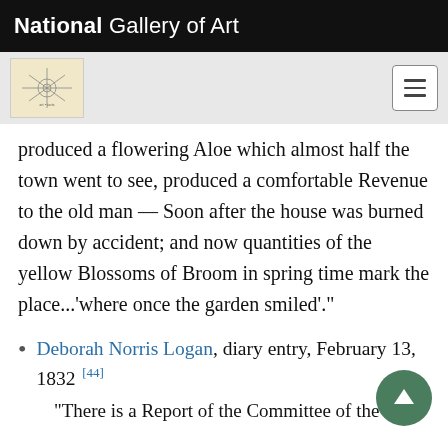National Gallery of Art
produced a flowering Aloe which almost half the town went to see, produced a comfortable Revenue to the old man — Soon after the house was burned down by accident; and now quantities of the yellow Blossoms of Broom in spring time mark the place...'where once the garden smiled'."
Deborah Norris Logan, diary entry, February 13, 1832 [44]
"There is a Report of the Committee of the